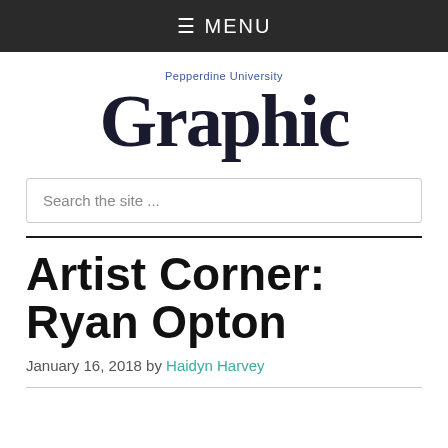≡ MENU
[Figure (logo): Pepperdine University Graphic newspaper logo in blackletter/gothic font]
Search the site ...
Artist Corner: Ryan Opton
January 16, 2018 by Haidyn Harvey